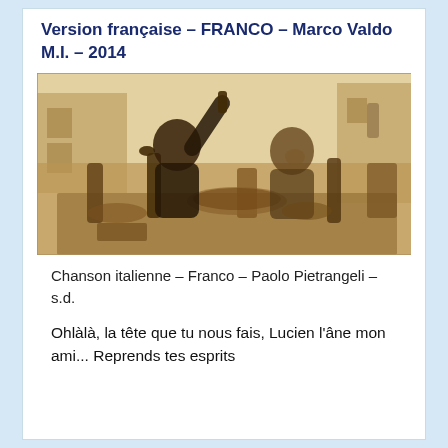Version française – FRANCO – Marco Valdo M.I. – 2014
[Figure (photo): Sepia-toned photograph of two people at an outdoor table laden with bottles, food and dishes. One person raises a bottle while the other laughs. A courtyard with buildings is visible in the background.]
Chanson italienne – Franco – Paolo Pietrangeli – s.d.
Ohlàlà, la tête que tu nous fais, Lucien l'âne mon ami... Reprends tes esprits